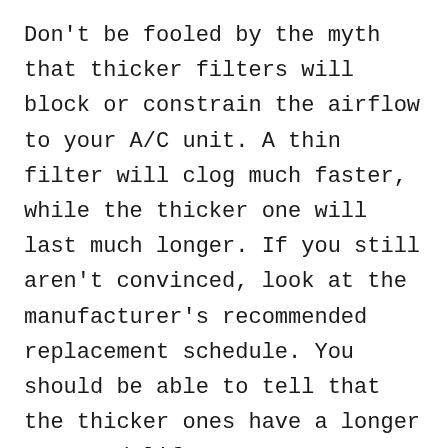Don't be fooled by the myth that thicker filters will block or constrain the airflow to your A/C unit. A thin filter will clog much faster, while the thicker one will last much longer. If you still aren't convinced, look at the manufacturer's recommended replacement schedule. You should be able to tell that the thicker ones have a longer expected life.
Choose Quality Air Filters From Crockett Filter Club